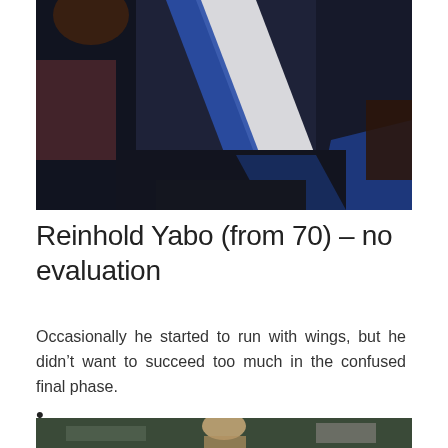[Figure (photo): Athlete in dark navy and blue/white striped sports kit, close-up of torso and arm raised]
Reinhold Yabo (from 70) – no evaluation
Occasionally he started to run with wings, but he didn't want to succeed too much in the confused final phase.
•
[Figure (photo): Another athlete photo, partially visible at bottom of page]